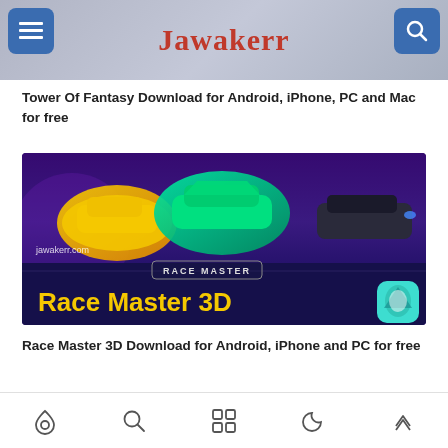Jawakerr
Tower Of Fantasy Download for Android, iPhone, PC and Mac for free
[Figure (screenshot): Race Master 3D promotional banner showing colorful racing cars (yellow, green, dark) on a purple/blue background with 'RACE MASTER' label and 'Race Master 3D' title in yellow, with app icon, and jawakerr.com watermark]
Race Master 3D Download for Android, iPhone and PC for free
Home | Search | Apps | Moon | Up